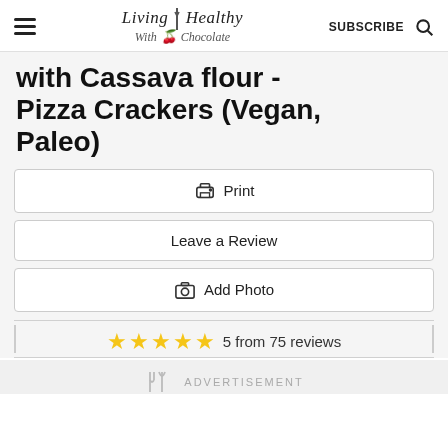Living Healthy With Chocolate — SUBSCRIBE
with Cassava flour - Pizza Crackers (Vegan, Paleo)
Print
Leave a Review
Add Photo
5 from 75 reviews
ADVERTISEMENT